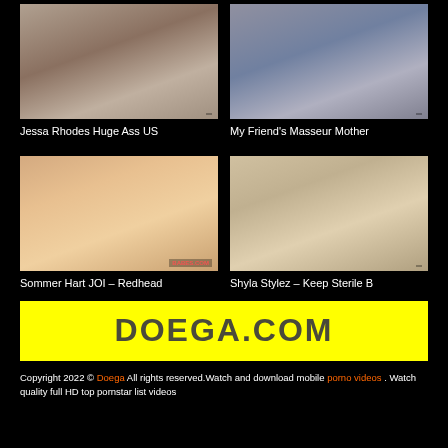[Figure (photo): Thumbnail image top-left: Jessa Rhodes Huge Ass US]
Jessa Rhodes Huge Ass US
[Figure (photo): Thumbnail image top-right: My Friend's Masseur Mother]
My Friend's Masseur Mother
[Figure (photo): Thumbnail image bottom-left: Sommer Hart JOI – Redhead]
Sommer Hart JOI – Redhead
[Figure (photo): Thumbnail image bottom-right: Shyla Stylez – Keep Sterile B]
Shyla Stylez – Keep Sterile B
[Figure (logo): DOEGA.COM yellow banner logo]
Copyright 2022 © Doega All rights reserved.Watch and download mobile porno videos . Watch quality full HD top pornstar list videos